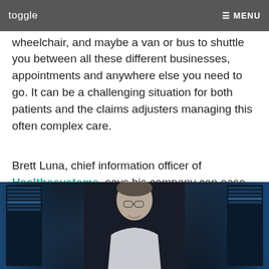toggle  ☰ MENU
wheelchair, and maybe a van or bus to shuttle you between all these different businesses, appointments and anywhere else you need to go. It can be a challenging situation for both patients and the claims adjusters managing this often complex care.
Brett Luna, chief information officer of Healthesystems, says his company can ease some of the anguish.
[Figure (photo): Portrait photo of a middle-aged man wearing glasses and a light-colored shirt, smiling, standing in what appears to be a server room with blue lighting in the background.]